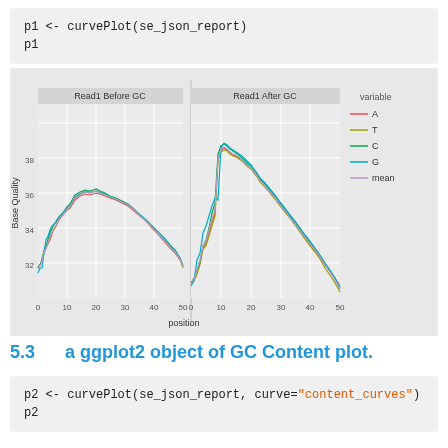p1 <- curvePlot(se_json_report)
p1
[Figure (line-chart): Two-panel line chart showing Base Quality vs position for nucleotides A, T, C, G and mean. Left panel: Read1 Before GC, Right panel: Read1 After GC. X-axis: position 0-50, Y-axis: Base Quality 32-38.]
5.3    a ggplot2 object of GC Content plot.
p2 <- curvePlot(se_json_report, curve="content_curves")
p2